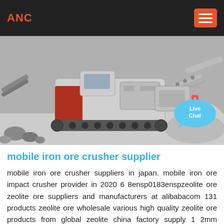ANC
[Figure (photo): A large mobile iron ore crusher machine on a rocky quarry site, shown in black and white. The tracked vehicle has conveyor belts and crushing equipment. A 'Live Chat' speech bubble overlay appears in the bottom right corner.]
mobile iron ore crusher supplier
mobile iron ore crusher suppliers in japan. mobile iron ore impact crusher provider in 2020 6 8ensp0183enspzeolite ore zeolite ore suppliers and manufacturers at alibabacom 131 products zeolite ore wholesale various high quality zeolite ore products from global zeolite china factory supply 1 2mm granular activated zeolite for